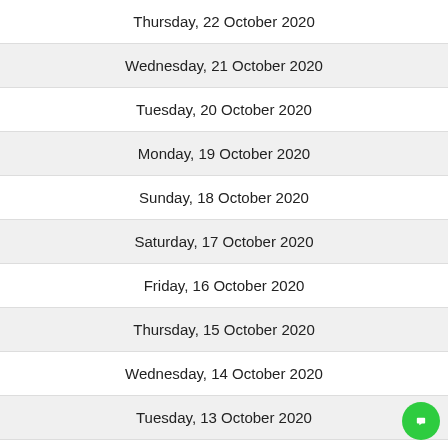Thursday, 22 October 2020
Wednesday, 21 October 2020
Tuesday, 20 October 2020
Monday, 19 October 2020
Sunday, 18 October 2020
Saturday, 17 October 2020
Friday, 16 October 2020
Thursday, 15 October 2020
Wednesday, 14 October 2020
Tuesday, 13 October 2020